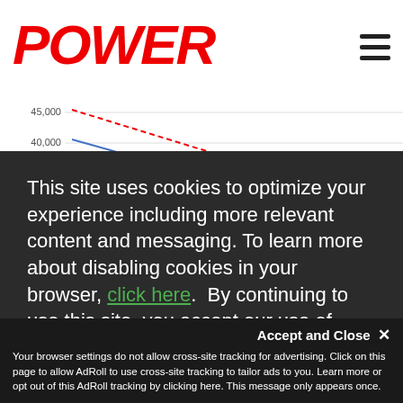POWER
[Figure (continuous-plot): Partial line chart showing data lines (blue solid and red dashed) with y-axis values 30,000 to 45,000 kW, lines trending downward left to right.]
This site uses cookies to optimize your experience including more relevant content and messaging. To learn more about disabling cookies in your browser, click here.  By continuing to use this site, you accept our use of cookies. For more information, view our updated Privacy Policy.
I Accept
Your browser settings do not allow cross-site tracking for advertising. Click on this page to allow AdRoll to use cross-site tracking to tailor ads to you. Learn more or opt out of this AdRoll tracking by clicking here. This message only appears once.